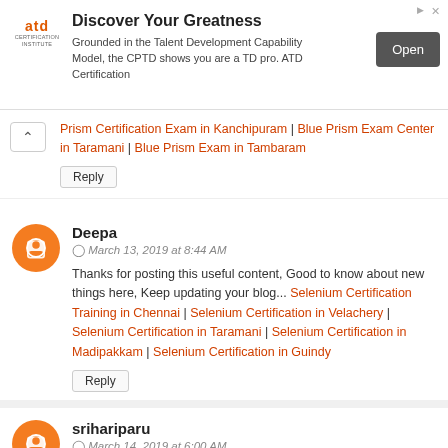[Figure (other): ATD Certification Institute advertisement banner with logo, text 'Discover Your Greatness', body copy, and an 'Open' button]
Prism Certification Exam in Kanchipuram | Blue Prism Exam Center in Taramani | Blue Prism Exam in Tambaram
Reply
Deepa
March 13, 2019 at 8:44 AM
Thanks for posting this useful content, Good to know about new things here, Keep updating your blog... Selenium Certification Training in Chennai | Selenium Certification in Velachery | Selenium Certification in Taramani | Selenium Certification in Madipakkam | Selenium Certification in Guindy
Reply
srihariparu
March 14, 2019 at 6:00 AM